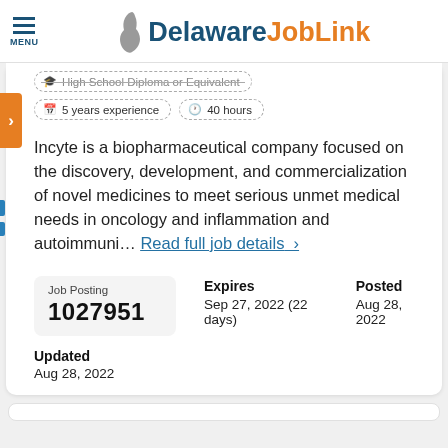Delaware JobLink
High School Diploma or Equivalent
5 years experience   40 hours
Incyte is a biopharmaceutical company focused on the discovery, development, and commercialization of novel medicines to meet serious unmet medical needs in oncology and inflammation and autoimmuni… Read full job details  >
| Job Posting | Expires | Posted |
| --- | --- | --- |
| 1027951 | Sep 27, 2022 (22 days) | Aug 28, 2022 |
Updated
Aug 28, 2022